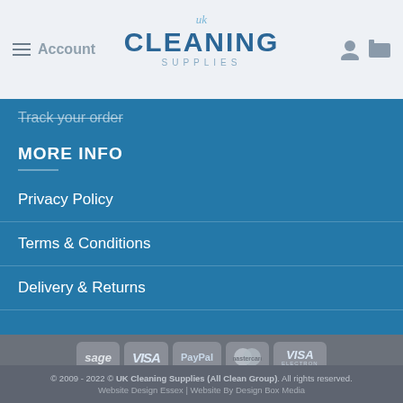Account | UK CLEANING SUPPLIES
Track your order
MORE INFO
Privacy Policy
Terms & Conditions
Delivery & Returns
[Figure (logo): Payment method logos: Sage, VISA, PayPal, MasterCard, VISA Electron]
© 2009 - 2022 © UK Cleaning Supplies (All Clean Group). All rights reserved. Website Design Essex | Website By Design Box Media